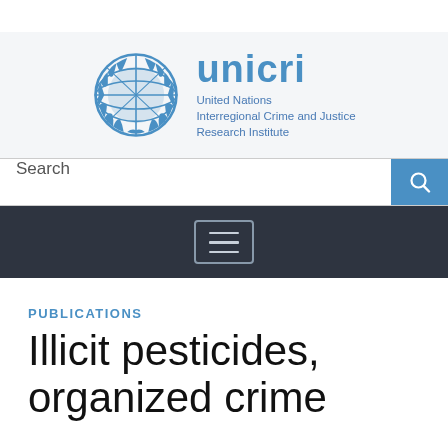[Figure (logo): UNICRI logo: United Nations emblem (globe with laurel wreath) in blue, next to 'unicri' wordmark in bold blue, with full name 'United Nations Interregional Crime and Justice Research Institute' below]
Search
PUBLICATIONS
Illicit pesticides, organized crime